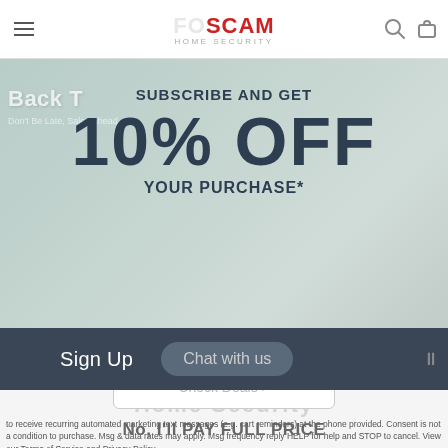FOSCAM home security
SUBSCRIBE AND GET
10% OFF
YOUR PURCHASE*
1
Check Deals >
to receive recurring automated marketing text messages (e.g. cart reminders) at the phone provided. Consent is not a condition to purchase. Msg & data rates may apply. Msg frequency reply HELP for help and STOP to cancel. View our Terms of Service and Privacy Policy.
Sign Up
Chat with us
No, I'll PAY FULL PRICE